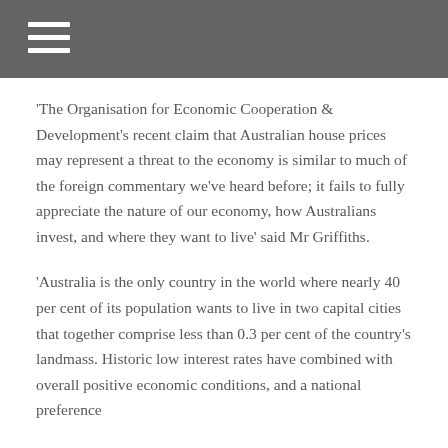'The Organisation for Economic Cooperation & Development's recent claim that Australian house prices may represent a threat to the economy is similar to much of the foreign commentary we've heard before; it fails to fully appreciate the nature of our economy, how Australians invest, and where they want to live' said Mr Griffiths.
'Australia is the only country in the world where nearly 40 per cent of its population wants to live in two capital cities that together comprise less than 0.3 per cent of the country's landmass. Historic low interest rates have combined with overall positive economic conditions, and a national preference